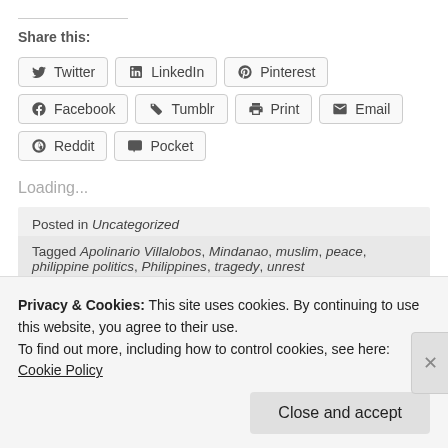Share this:
[Figure (infographic): Share buttons: Twitter, LinkedIn, Pinterest, Facebook, Tumblr, Print, Email, Reddit, Pocket]
Loading...
Posted in Uncategorized
Tagged Apolinario Villalobos, Mindanao, muslim, peace, philippine politics, Philippines, tragedy, unrest
Privacy & Cookies: This site uses cookies. By continuing to use this website, you agree to their use. To find out more, including how to control cookies, see here: Cookie Policy